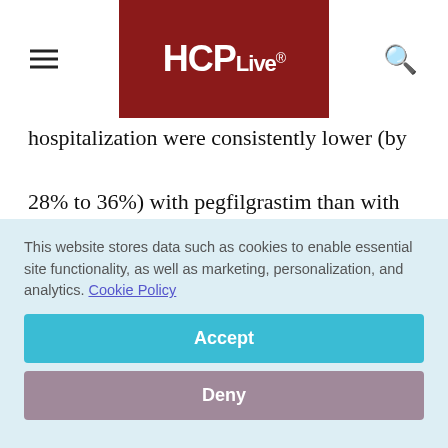HCPLive®
hospitalization were consistently lower (by 28% to 36%) with pegfilgrastim than with filgrastim.

The investigators concluded that the risk of hospitalization appears to be approximately
This website stores data such as cookies to enable essential site functionality, as well as marketing, personalization, and analytics. Cookie Policy